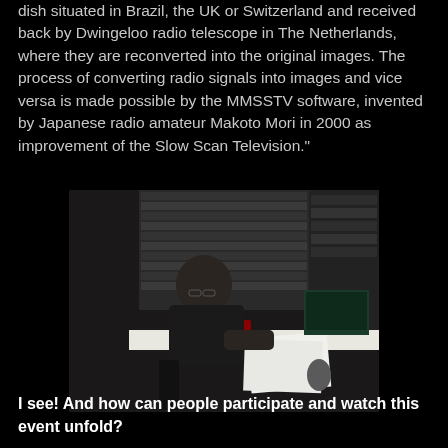dish situated in Brazil, the UK or Switzerland and received back by Dwingeloo radio telescope in The Netherlands, where they are reconverted into the original images. The process of converting radio signals into images and vice versa is made possible by the MMSSTV software, invented by Japanese radio amateur Makoto Mori in 2000 as improvement of the Slow Scan Television."
[Figure (photo): A man sitting at a radio operator workstation surrounded by equipment racks, screens, and a laptop, working with radio communication hardware.]
I see! And how can people participate and watch this event unfold?